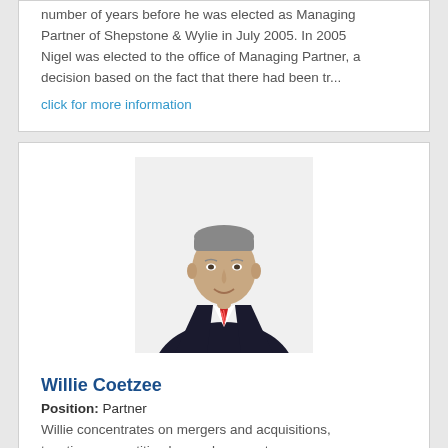number of years before he was elected as Managing Partner of Shepstone & Wylie in July 2005. In 2005 Nigel was elected to the office of Managing Partner, a decision based on the fact that there had been tr...
click for more information
[Figure (photo): Professional headshot of Willie Coetzee, a middle-aged man in a dark suit with a red striped tie, smiling]
Willie Coetzee
Position: Partner
Willie concentrates on mergers and acquisitions, taxation, competition law and corporate governance.